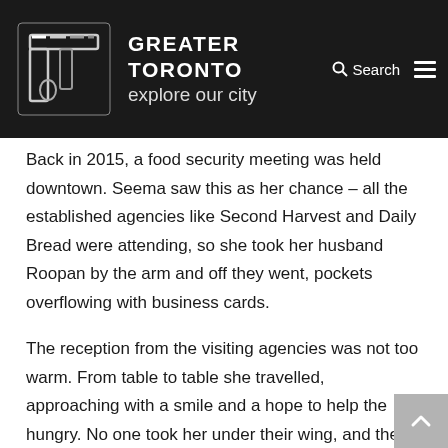GREATER TORONTO explore our city
Back in 2015, a food security meeting was held downtown. Seema saw this as her chance – all the established agencies like Second Harvest and Daily Bread were attending, so she took her husband Roopan by the arm and off they went, pockets overflowing with business cards.
The reception from the visiting agencies was not too warm. From table to table she travelled, approaching with a smile and a hope to help the hungry. No one took her under their wing, and the visit ended with Seema and Roopan leaving some cards at the exit as they made their way out.
The past would come back in full force to Seema's life in 2016. She found a gig serving meals for the East